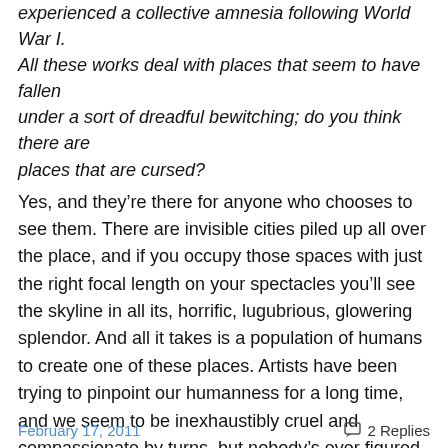Archangel, which is set in a region of Russia that experienced a collective amnesia following World War I. All these works deal with places that seem to have fallen under a sort of dreadful bewitching; do you think there are places that are cursed?
Yes, and they’re there for anyone who chooses to see them. There are invisible cities piled up all over the place, and if you occupy those spaces with just the right focal length on your spectacles you’ll see the skyline in all its, horrific, lugubrious, glowering splendor. And all it takes is a population of humans to create one of these places. Artists have been trying to pinpoint our humanness for a long time, and we seem to be inexhaustibly cruel and compassionate by turns, but nobody’s ever figured out why.
February 17, 2011   2 Replies